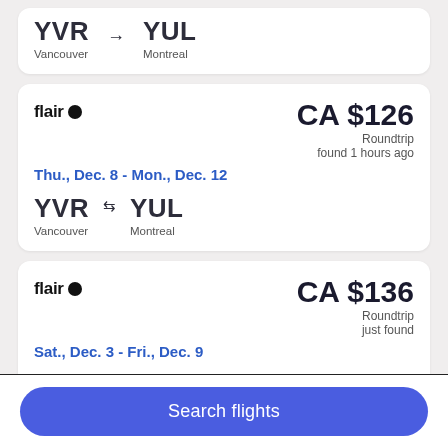[Figure (screenshot): Partial flight card (top clipped) showing YVR to YUL route with one-way arrow]
flair | CA $126 Roundtrip found 1 hours ago | Thu., Dec. 8 - Mon., Dec. 12 | YVR Vancouver ⇆ YUL Montreal
flair | CA $136 Roundtrip just found | Sat., Dec. 3 - Fri., Dec. 9 | YVR Vancouver ⇆ YUL Montreal
Search flights